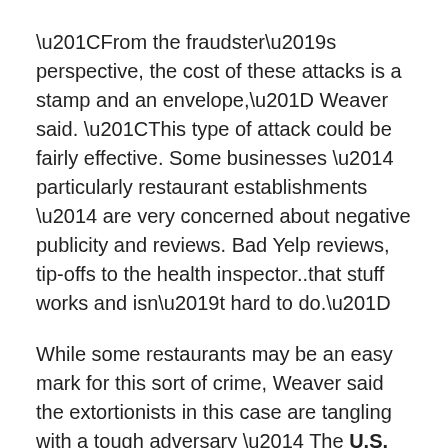“From the fraudster’s perspective, the cost of these attacks is a stamp and an envelope,” Weaver said. “This type of attack could be fairly effective. Some businesses — particularly restaurant establishments — are very concerned about negative publicity and reviews. Bad Yelp reviews, tip-offs to the health inspector..that stuff works and isn’t hard to do.”
While some restaurants may be an easy mark for this sort of crime, Weaver said the extortionists in this case are tangling with a tough adversary — The U.S. Postal Service — which takes extortion crimes perpetrated through the U.S. mail very seriously.
“There is a lot of operational security that these guys might have failed at, because this is interstate commerce, mail fraud, and postal